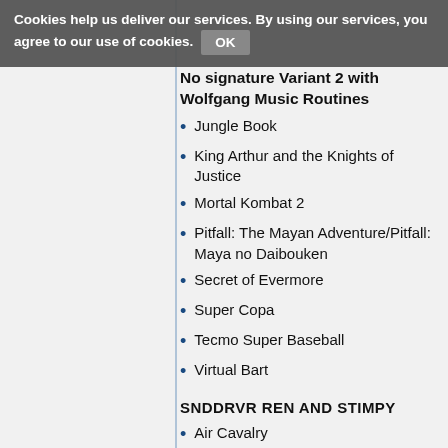Cookies help us deliver our services. By using our services, you agree to our use of cookies. OK
No signature Variant 2 with Wolfgang Music Routines
Jungle Book
King Arthur and the Knights of Justice
Mortal Kombat 2
Pitfall: The Mayan Adventure/Pitfall: Maya no Daibouken
Secret of Evermore
Super Copa
Tecmo Super Baseball
Virtual Bart
SNDDRVR REN AND STIMPY
Air Cavalry
Boogerman: A Pick and Flick Adventure
Carrier Aces